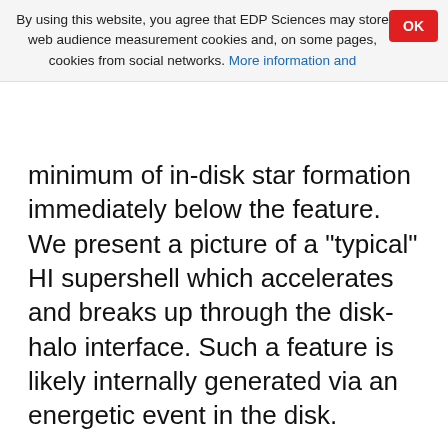By using this website, you agree that EDP Sciences may store web audience measurement cookies and, on some pages, cookies from social networks. More information and
minimum of in-disk star formation immediately below the feature. We present a picture of a "typical" HI supershell which accelerates and breaks up through the disk-halo interface. Such a feature is likely internally generated via an energetic event in the disk.
Key words: ISM: bubbles / ISM: general / ISM: structure / galaxies: general / galaxies: individual: NGC 5775 / galaxies: spiral
© ESO, 2001
View Full HTML version